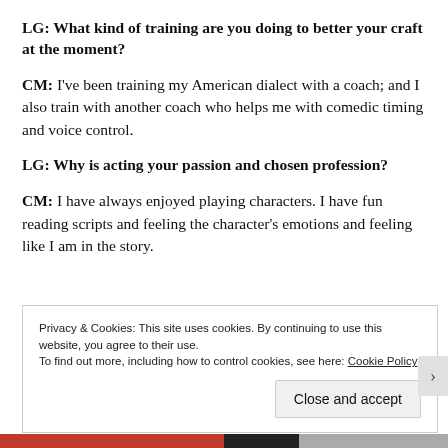LG: What kind of training are you doing to better your craft at the moment?
CM: I've been training my American dialect with a coach; and I also train with another coach who helps me with comedic timing and voice control.
LG: Why is acting your passion and chosen profession?
CM: I have always enjoyed playing characters. I have fun reading scripts and feeling the character's emotions and feeling like I am in the story.
Privacy & Cookies: This site uses cookies. By continuing to use this website, you agree to their use. To find out more, including how to control cookies, see here: Cookie Policy
Close and accept